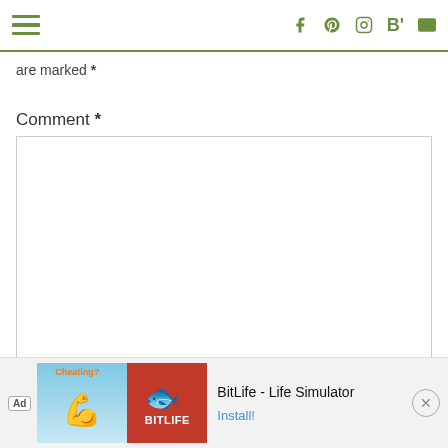Navigation menu and social icons (Facebook, Pinterest, Instagram, Bloglovin, Email)
are marked *
Comment *
[Figure (screenshot): Empty comment textarea input box]
Name
[Figure (screenshot): Ad banner: BitLife - Life Simulator game advertisement with Install button]